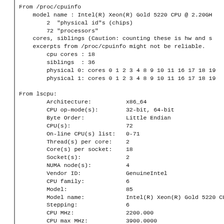From /proc/cpuinfo
    model name : Intel(R) Xeon(R) Gold 5220 CPU @ 2.20GH
        2  "physical id"s (chips)
        72 "processors"
    cores, siblings (Caution: counting these is hw and s
    excerpts from /proc/cpuinfo might not be reliable.
        cpu cores : 18
        siblings  : 36
        physical 0: cores 0 1 2 3 4 8 9 10 11 16 17 18 19
        physical 1: cores 0 1 2 3 4 8 9 10 11 16 17 18 19

From lscpu:
        Architecture:          x86_64
        CPU op-mode(s):        32-bit, 64-bit
        Byte Order:            Little Endian
        CPU(s):                72
        On-line CPU(s) list:   0-71
        Thread(s) per core:    2
        Core(s) per socket:    18
        Socket(s):             2
        NUMA node(s):          4
        Vendor ID:             GenuineIntel
        CPU family:            6
        Model:                 85
        Model name:            Intel(R) Xeon(R) Gold 5220 CU
        Stepping:              6
        CPU MHz:               2200.000
        CPU max MHz:           3900.0000
        CPU min MHz:           1000.0000
        BogoMIPS:              4400.00